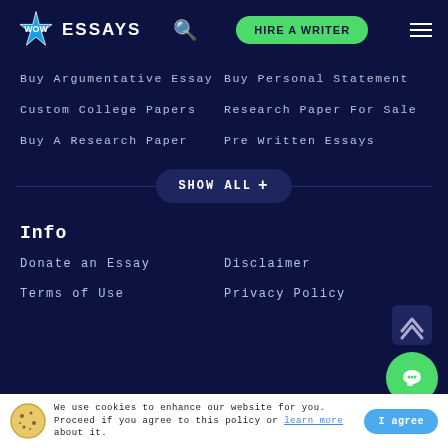WOW ESSAYS — HIRE A WRITER
Buy Argumentative Essay
Buy Personal Statement
Custom College Papers
Research Paper For Sale
Buy A Research Paper
Pre Written Essays
SHOW ALL +
Info
Donate an Essay
Disclaimer
Terms of Use
Privacy Policy
We use cookies to enhance our website for you. Proceed if you agree to this policy or learn more about it.
I agree